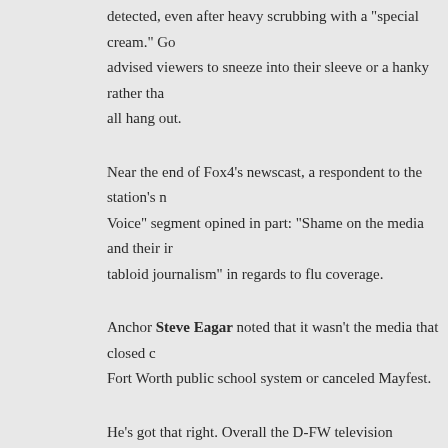detected, even after heavy scrubbing with a "special cream." Go advised viewers to sneeze into their sleeve or a hanky rather tha all hang out.
Near the end of Fox4's newscast, a respondent to the station's n Voice" segment opined in part: "Shame on the media and their ir tabloid journalism" in regards to flu coverage.
Anchor Steve Eagar noted that it wasn't the media that closed c Fort Worth public school system or canceled Mayfest.
He's got that right. Overall the D-FW television coverage has bee responsible and restrained. Maybe WFAA8 is doing too little flu c the others a bit too much. That's debatable. But no one has done egregious.
From a mere TV critic's perspective, though, Tarrant County publ grossly over-reacted, making Dallas look good in comparison. Da Medical Director Dr. John Carlo may have said this a bit inelegar